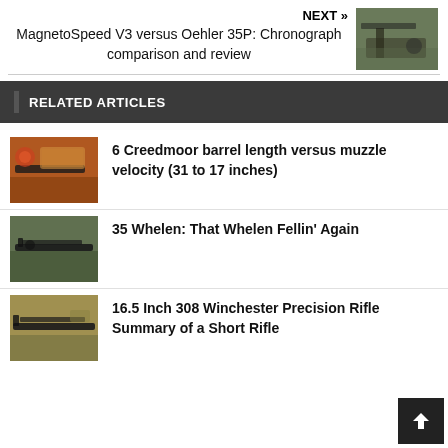NEXT »
MagnetoSpeed V3 versus Oehler 35P: Chronograph comparison and review
[Figure (photo): Outdoor photo showing a chronograph setup on a shooting range]
RELATED ARTICLES
[Figure (photo): Photo of rifle with 6 Creedmoor barrel and ammunition boxes]
6 Creedmoor barrel length versus muzzle velocity (31 to 17 inches)
[Figure (photo): Photo of a 35 Whelen rifle]
35 Whelen: That Whelen Fellin' Again
[Figure (photo): Photo of a 308 Winchester precision rifle]
16.5 Inch 308 Winchester Precision Rifle Summary of a Short Rifle